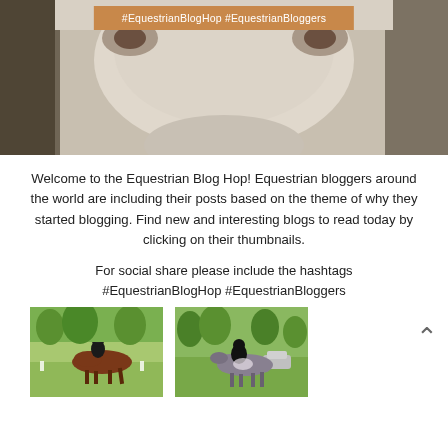[Figure (photo): Close-up photograph of a white/grey horse face, with an orange banner overlay showing hashtags]
#EquestrianBlogHop #EquestrianBloggers
Welcome to the Equestrian Blog Hop! Equestrian bloggers around the world are including their posts based on the theme of why they started blogging. Find new and interesting blogs to read today by clicking on their thumbnails.
For social share please include the hashtags #EquestrianBlogHop #EquestrianBloggers
[Figure (photo): Equestrian rider on a chestnut/bay horse trotting in a dressage arena with white fence markers]
[Figure (photo): Equestrian rider in black jacket on a grey/dark horse standing in a grassy field]